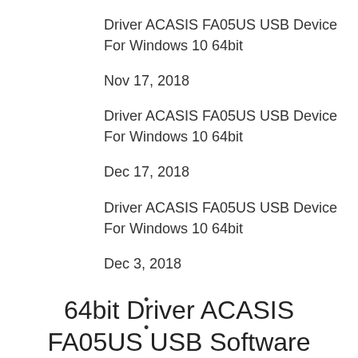Driver ACASIS FA05US USB Device For Windows 10 64bit
Nov 17, 2018
Driver ACASIS FA05US USB Device For Windows 10 64bit
Dec 17, 2018
Driver ACASIS FA05US USB Device For Windows 10 64bit
Dec 3, 2018
64bit Driver ACASIS FA05US USB Software